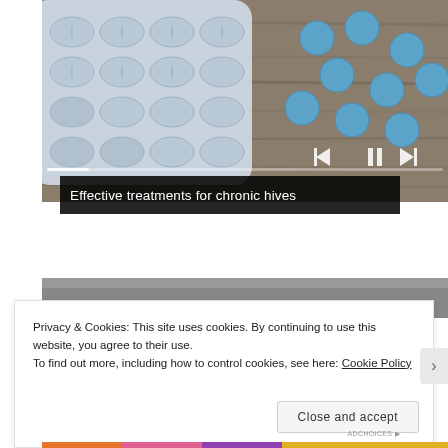[Figure (photo): Photo of white pill blister pack and loose blue round pills scattered on a wooden surface. Media player controls (skip back, pause, skip forward) and a progress bar are overlaid at the bottom of the image.]
Effective treatments for chronic hives
[Figure (photo): Partial view of a second image below the first slideshow panel, showing a gray/dark background.]
Privacy & Cookies: This site uses cookies. By continuing to use this website, you agree to their use.
To find out more, including how to control cookies, see here: Cookie Policy
Close and accept